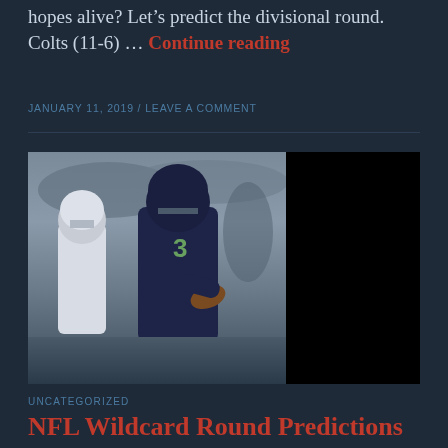hopes alive? Let's predict the divisional round. Colts (11-6) … Continue reading
JANUARY 11, 2019 / LEAVE A COMMENT
[Figure (photo): NFL player wearing number 3 jersey in dark blue (Seahawks) scrambling with the ball, being pursued by a player in white jersey (Cowboys). Stadium crowd visible in background. Right portion of image is blacked out.]
UNCATEGORIZED
NFL Wildcard Round Predictions
It's finally here! After seventeen exciting weeks of